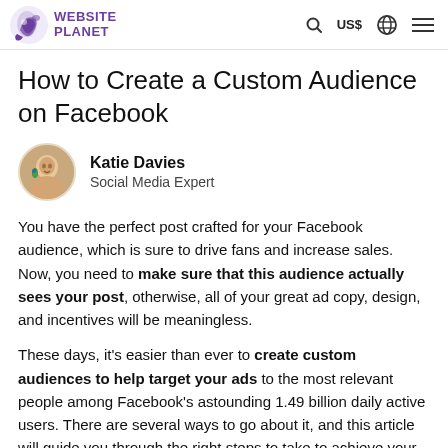WEBSITE PLANET  US$
How to Create a Custom Audience on Facebook
Katie Davies
Social Media Expert
You have the perfect post crafted for your Facebook audience, which is sure to drive fans and increase sales. Now, you need to make sure that this audience actually sees your post, otherwise, all of your great ad copy, design, and incentives will be meaningless.
These days, it's easier than ever to create custom audiences to help target your ads to the most relevant people among Facebook's astounding 1.49 billion daily active users. There are several ways to go about it, and this article will guide you through the right steps to take to achieve your